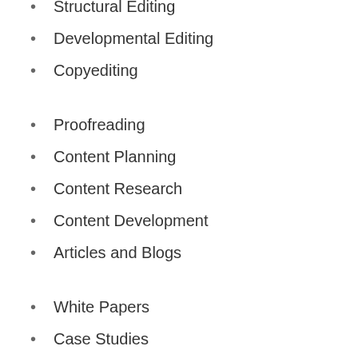Structural Editing
Developmental Editing
Copyediting
Proofreading
Content Planning
Content Research
Content Development
Articles and Blogs
White Papers
Case Studies